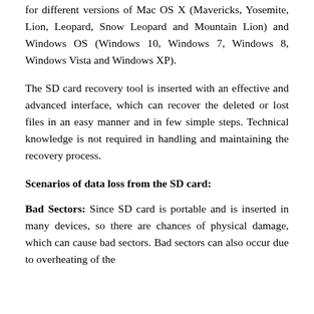for different versions of Mac OS X (Mavericks, Yosemite, Lion, Leopard, Snow Leopard and Mountain Lion) and Windows OS (Windows 10, Windows 7, Windows 8, Windows Vista and Windows XP).
The SD card recovery tool is inserted with an effective and advanced interface, which can recover the deleted or lost files in an easy manner and in few simple steps. Technical knowledge is not required in handling and maintaining the recovery process.
Scenarios of data loss from the SD card:
Bad Sectors: Since SD card is portable and is inserted in many devices, so there are chances of physical damage, which can cause bad sectors. Bad sectors can also occur due to overheating of the device. So, the bad sectors can cause the files to be